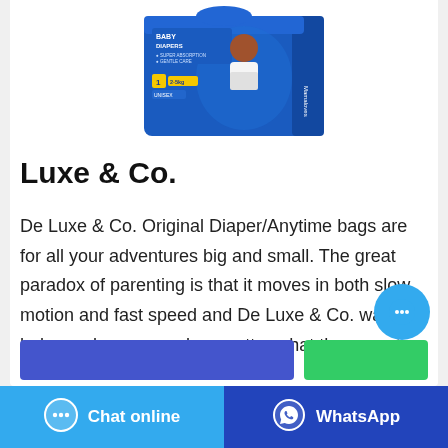[Figure (photo): Blue baby diapers package box (Mamaloves brand) showing a baby, labeled 'Baby Diapers, Super Absorption, Gentle Care, Size 1, 2-5kg, Unisex']
Luxe & Co.
De Luxe & Co. Original Diaper/Anytime bags are for all your adventures big and small. The great paradox of parenting is that it moves in both slow motion and fast speed and De Luxe & Co. wants to help you be prepared no matter what the occasion. Our bags can be worn both as a backpack and messenger bag and be quickly converted on the
[Figure (other): Two buttons: a blue rectangle and a green rectangle, part of page CTA]
[Figure (other): Floating chat bubble button (light blue circle with ellipsis icon)]
[Figure (other): Bottom bar with 'Chat online' button (light blue) and 'WhatsApp' button (dark blue)]